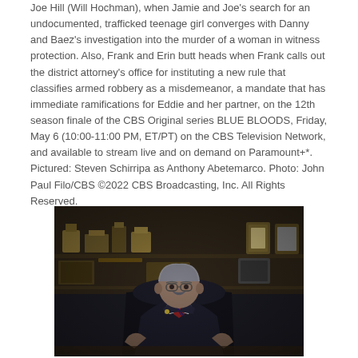Joe Hill (Will Hochman), when Jamie and Joe's search for an undocumented, trafficked teenage girl converges with Danny and Baez's investigation into the murder of a woman in witness protection. Also, Frank and Erin butt heads when Frank calls out the district attorney's office for instituting a new rule that classifies armed robbery as a misdemeanor, a mandate that has immediate ramifications for Eddie and her partner, on the 12th season finale of the CBS Original series BLUE BLOODS, Friday, May 6 (10:00-11:00 PM, ET/PT) on the CBS Television Network, and available to stream live and on demand on Paramount+*. Pictured: Steven Schirripa as Anthony Abetemarco. Photo: John Paul Filo/CBS ©2022 CBS Broadcasting, Inc. All Rights Reserved.
[Figure (photo): A man in a dark suit and striped tie sits at a desk in what appears to be an office, with trophy cases and plaques visible on shelves in the background. The man has gray hair and a mustache and is wearing glasses.]